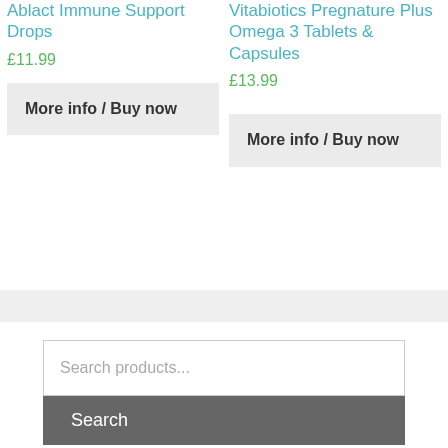Ablact Immune Support Drops
£11.99
More info / Buy now
Vitabiotics Pregnature Plus Omega 3 Tablets & Capsules
£13.99
More info / Buy now
Search products...
Search